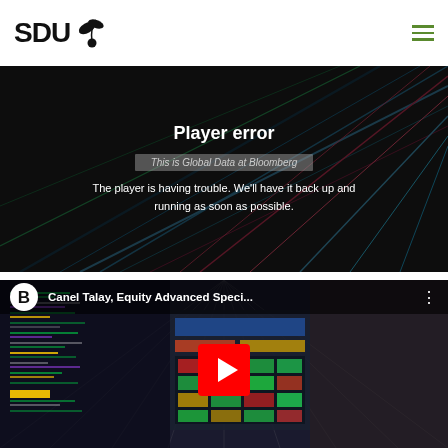[Figure (logo): SDU logo with leaf/cherry icon in black]
[Figure (screenshot): Video player error state on dark background with fiber-optic light streaks. Shows 'Player error' title and error message text, with partially visible text 'This is Global Data at Bloomberg' beneath a gray overlay bar.]
Player error
This is Global Data at Bloomberg
The player is having trouble. We'll have it back up and running as soon as possible.
[Figure (screenshot): YouTube video thumbnail showing Bloomberg 'B' logo on white circle, title 'Canel Talay, Equity Advanced Speci...' with three-dot menu, and a person visible on the right side with computer screens on the left. Red YouTube play button in center.]